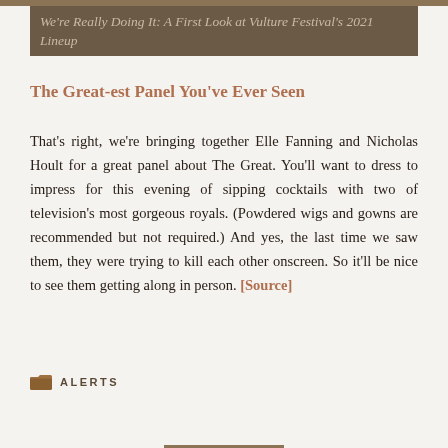We're Really Doing It: A First Look at Vulture Festival's 2021 Lineup
The Great-est Panel You've Ever Seen
That's right, we're bringing together Elle Fanning and Nicholas Hoult for a great panel about The Great. You'll want to dress to impress for this evening of sipping cocktails with two of television's most gorgeous royals. (Powdered wigs and gowns are recommended but not required.) And yes, the last time we saw them, they were trying to kill each other onscreen. So it'll be nice to see them getting along in person. [Source]
ALERTS